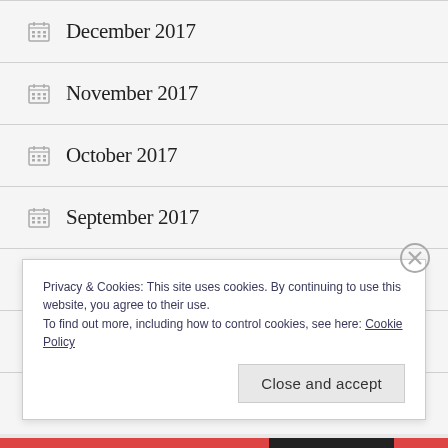December 2017
November 2017
October 2017
September 2017
August 2017
July 2017
Privacy & Cookies: This site uses cookies. By continuing to use this website, you agree to their use.
To find out more, including how to control cookies, see here: Cookie Policy
Close and accept